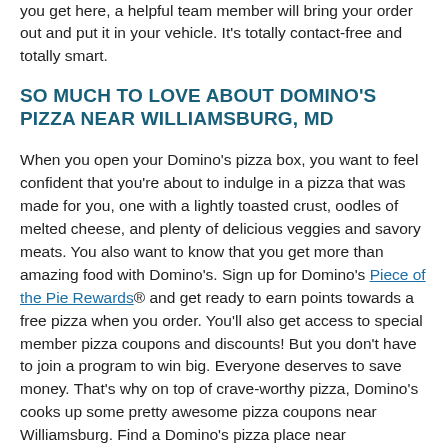you get here, a helpful team member will bring your order out and put it in your vehicle. It's totally contact-free and totally smart.
SO MUCH TO LOVE ABOUT DOMINO'S PIZZA NEAR WILLIAMSBURG, MD
When you open your Domino's pizza box, you want to feel confident that you're about to indulge in a pizza that was made for you, one with a lightly toasted crust, oodles of melted cheese, and plenty of delicious veggies and savory meats. You also want to know that you get more than amazing food with Domino's. Sign up for Domino's Piece of the Pie Rewards® and get ready to earn points towards a free pizza when you order. You'll also get access to special member pizza coupons and discounts! But you don't have to join a program to win big. Everyone deserves to save money. That's why on top of crave-worthy pizza, Domino's cooks up some pretty awesome pizza coupons near Williamsburg. Find a Domino's pizza place near Williamsburg to see current pizza coupons and deals. Pick from a combo deal, mix and match deal, carryout offer, and more! You never know what type of pizza coupon your local store will offer. When it comes to pizza places